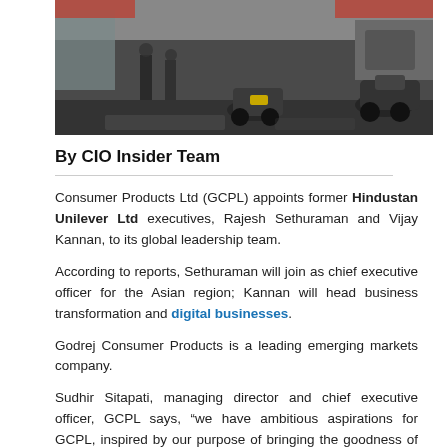[Figure (photo): Interior of what appears to be a retail/dealership showroom with motorcycles and people visible]
By CIO Insider Team
Consumer Products Ltd (GCPL) appoints former Hindustan Unilever Ltd executives, Rajesh Sethuraman and Vijay Kannan, to its global leadership team.
According to reports, Sethuraman will join as chief executive officer for the Asian region; Kannan will head business transformation and digital businesses.
Godrej Consumer Products is a leading emerging markets company.
Sudhir Sitapati, managing director and chief executive officer, GCPL says, “we have ambitious aspirations for GCPL, inspired by our purpose of bringing the goodness of health and beauty to consumers in emerging markets. Our strategy is to grow category development driven by relevance, access and